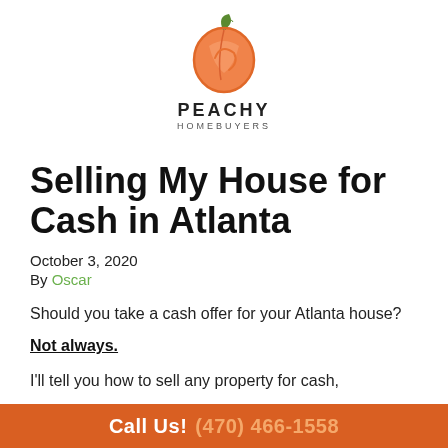[Figure (logo): Peachy Homebuyers logo — an orange peach with a green leaf on top, with the text PEACHY in bold large letters and HOMEBUYERS in small spaced letters below]
Selling My House for Cash in Atlanta
October 3, 2020
By Oscar
Should you take a cash offer for your Atlanta house?
Not always.
I'll tell you how to sell any property for cash,
Call Us! (470) 466-1558